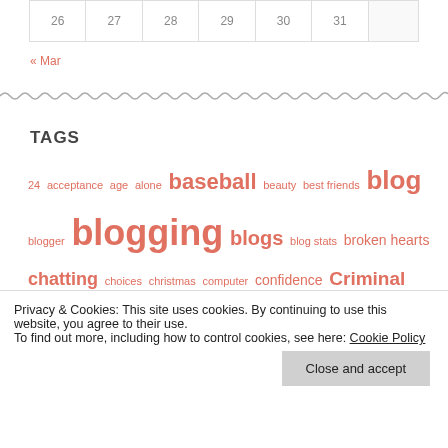|  |  |  |  |  |  |  |
| --- | --- | --- | --- | --- | --- | --- |
| 26 | 27 | 28 | 29 | 30 | 31 |  |
« Mar
TAGS
24 acceptance age alone baseball beauty best friends blog blogger blogging blogs blog stats broken hearts chatting choices christmas computer confidence Criminal Minds ...friends
Privacy & Cookies: This site uses cookies. By continuing to use this website, you agree to their use. To find out more, including how to control cookies, see here: Cookie Policy
Close and accept